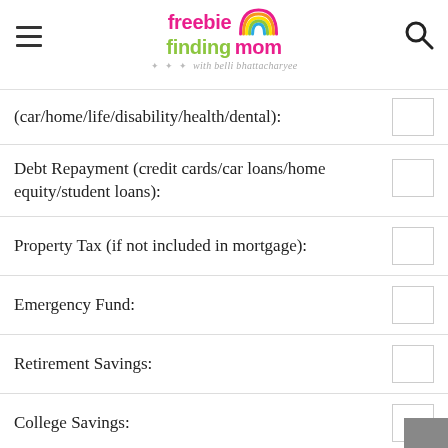freebie finding mom with belli bhattacharyee
(car/home/life/disability/health/dental):
Debt Repayment (credit cards/car loans/home equity/student loans):
Property Tax (if not included in mortgage):
Emergency Fund:
Retirement Savings:
College Savings:
Savings Towards a Goal (buy a house or car/go on vacation):